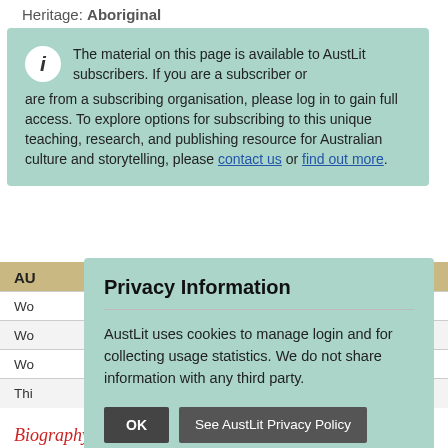Heritage: Aboriginal
The material on this page is available to AustLit subscribers. If you are a subscriber or are from a subscribing organisation, please log in to gain full access. To explore options for subscribing to this unique teaching, research, and publishing resource for Australian culture and storytelling, please contact us or find out more.
AU
Wo
Wo
Wo
Thi
Privacy Information
AustLit uses cookies to manage login and for collecting usage statistics. We do not share information with any third party.
OK   See AustLit Privacy Policy
Biography